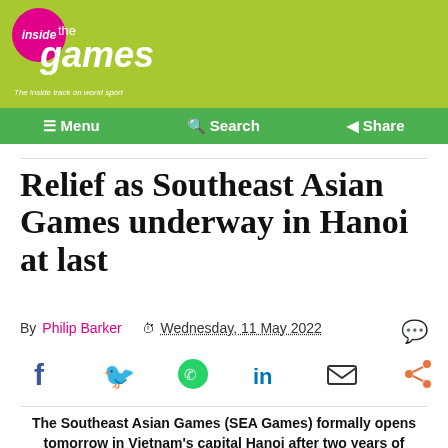inside the games — The inside track on world sport
Menu   Search   Share
Relief as Southeast Asian Games underway in Hanoi at last
By Philip Barker   Wednesday, 11 May 2022
[Figure (infographic): Social sharing icons: Facebook, Twitter, WhatsApp, LinkedIn, Email, Share]
The Southeast Asian Games (SEA Games) formally opens tomorrow in Vietnam's capital Hanoi after two years of delays as a result of COVID-19, although the